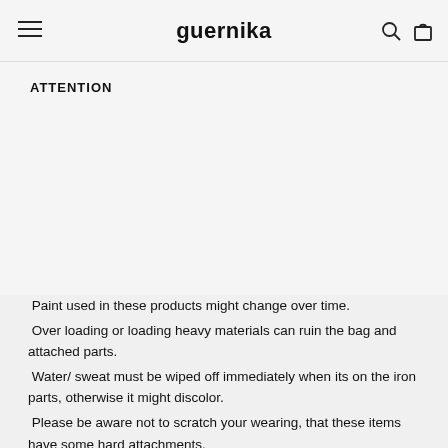guernika
ATTENTION
Paint used in these products might change over time. Over loading or loading heavy materials can ruin the bag and attached parts. Water/ sweat must be wiped off immediately when its on the iron parts, otherwise it might discolor. Please be aware not to scratch your wearing, that these items have some hard attachments.